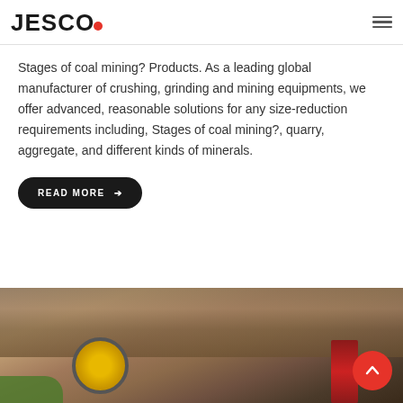JESCO
Stages of coal mining? Products. As a leading global manufacturer of crushing, grinding and mining equipments, we offer advanced, reasonable solutions for any size-reduction requirements including, Stages of coal mining?, quarry, aggregate, and different kinds of minerals.
READ MORE →
[Figure (photo): Outdoor mining/construction site photo showing reddish-brown excavated soil terrain with mining machinery visible including a yellow circular component and red structural element in the foreground, with green vegetation at lower left.]